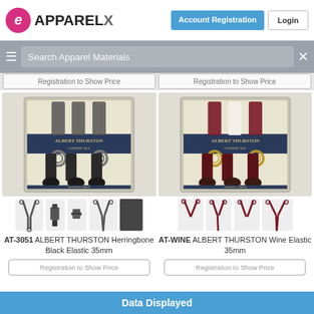Suspenders Pin Dot Pattern | APPAREL X | Account Registration | Login
Registration to Show Price (left) | Registration to Show Price (right)
Search Apparel Materials
[Figure (photo): Albert Thurston Herringbone Black Elastic 35mm suspenders in presentation box with black leather fittings and silver rings]
[Figure (photo): Suspender accessory thumbnails: Y-shape, clip, loop, Y-shape, fabric swatch - dark charcoal/black]
AT-3051 ALBERT THURSTON Herringbone Black Elastic 35mm
Registration to Show Price
[Figure (photo): Albert Thurston Wine Elastic 35mm suspenders in presentation box with brown leather fittings and gold rings]
[Figure (photo): Suspender accessory thumbnails: clip, Y-shape, clip, Y-shape - wine/burgundy red]
AT-WINE ALBERT THURSTON Wine Elastic 35mm
Registration to Show Price
Data Displayed